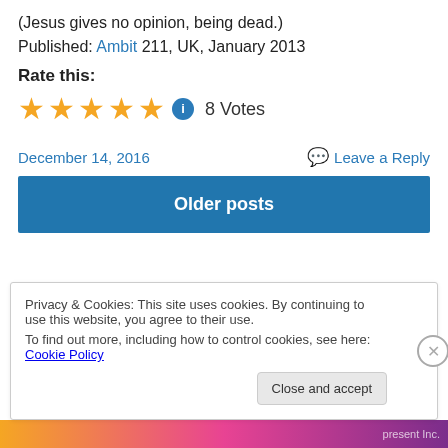(Jesus gives no opinion, being dead.)
Published: Ambit 211, UK, January 2013
Rate this:
8 Votes
December 14, 2016
Leave a Reply
Older posts
Privacy & Cookies: This site uses cookies. By continuing to use this website, you agree to their use.
To find out more, including how to control cookies, see here: Cookie Policy
Close and accept